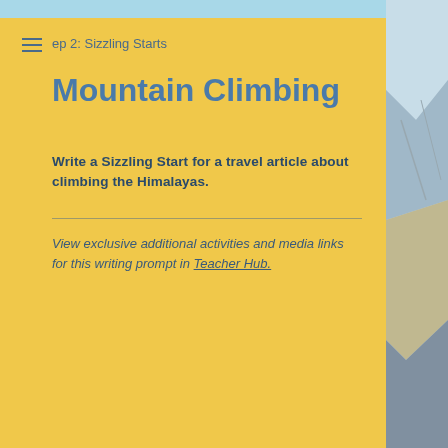ep 2: Sizzling Starts
Mountain Climbing
Write a Sizzling Start for a travel article about climbing the Himalayas.
View exclusive additional activities and media links for this writing prompt in Teacher Hub.